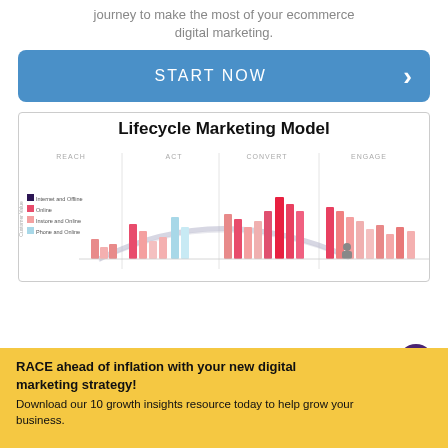journey to make the most of your ecommerce digital marketing.
[Figure (other): Blue START NOW button with right arrow chevron]
[Figure (infographic): Lifecycle Marketing Model diagram showing REACH, ACT, CONVERT, ENGAGE phases with bar charts colored by Internet and Offline, Online, Instore and Online, Phone and Online channels. Includes a legend and curved arrow arc.]
RACE ahead of inflation with your new digital marketing strategy! Download our 10 growth insights resource today to help grow your business.